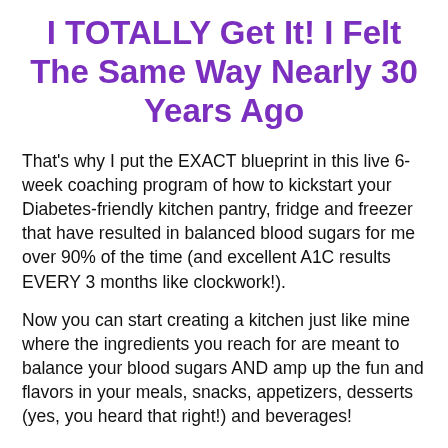I TOTALLY Get It! I Felt The Same Way Nearly 30 Years Ago
That’s why I put the EXACT blueprint in this live 6-week coaching program of how to kickstart your Diabetes-friendly kitchen pantry, fridge and freezer that have resulted in balanced blood sugars for me over 90% of the time (and excellent A1C results EVERY 3 months like clockwork!).
Now you can start creating a kitchen just like mine where the ingredients you reach for are meant to balance your blood sugars AND amp up the fun and flavors in your meals, snacks, appetizers, desserts (yes, you heard that right!) and beverages!